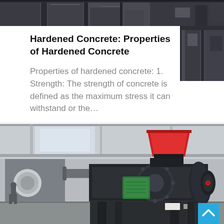[Figure (photo): Partial view of industrial machinery/equipment, dark metallic components, top strip image]
Hardened Concrete: Properties of Hardened Concrete
Properties of hardened concrete: 1. Strength: The strength of concrete is defined as the maximum stress it can withstand or the…
[Figure (photo): Industrial crushing/grinding machine (concrete crusher or roll crusher) in a factory setting. Large dark metal machine with green motor housing, red hopper on top, inside an industrial warehouse. A worker visible in the background.]